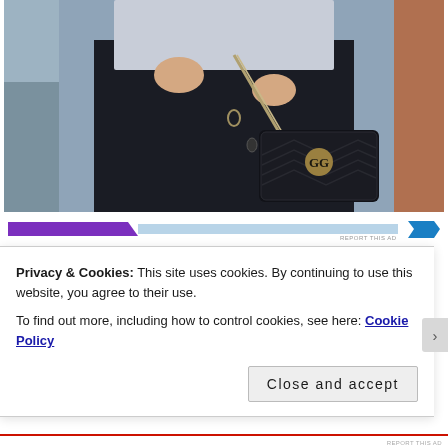[Figure (photo): A person wearing black athletic leggings and a grey sweatshirt, carrying a black quilted Gucci crossbody bag with gold chain strap and GG logo, photographed outdoors against an urban background.]
[Figure (other): Advertisement banner with purple and blue gradient elements and a blue chevron, with 'REPORT THIS AD' text.]
Privacy & Cookies: This site uses cookies. By continuing to use this website, you agree to their use.
To find out more, including how to control cookies, see here: Cookie Policy
Close and accept